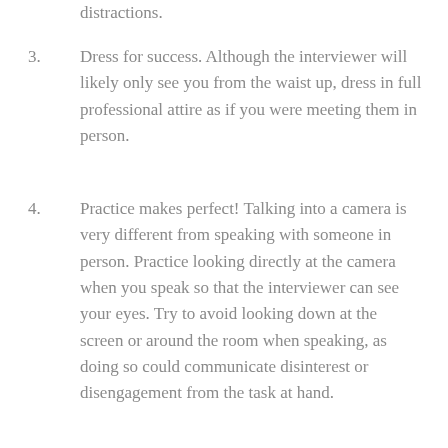distractions.
3. Dress for success. Although the interviewer will likely only see you from the waist up, dress in full professional attire as if you were meeting them in person.
4. Practice makes perfect! Talking into a camera is very different from speaking with someone in person. Practice looking directly at the camera when you speak so that the interviewer can see your eyes. Try to avoid looking down at the screen or around the room when speaking, as doing so could communicate disinterest or disengagement from the task at hand.